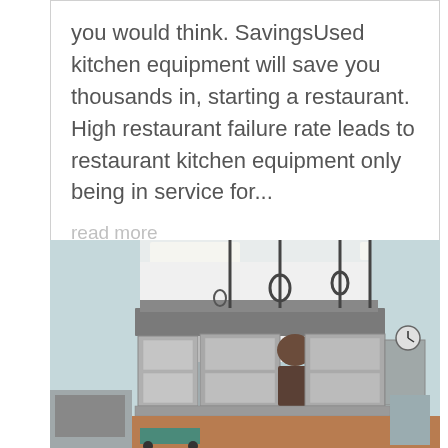you would think. SavingsUsed kitchen equipment will save you thousands in, starting a restaurant. High restaurant failure rate leads to restaurant kitchen equipment only being in service for...
read more
[Figure (photo): Commercial restaurant kitchen with stainless steel equipment, ovens, ventilation hood systems hanging from ceiling, and various kitchen appliances on a brown tile floor.]